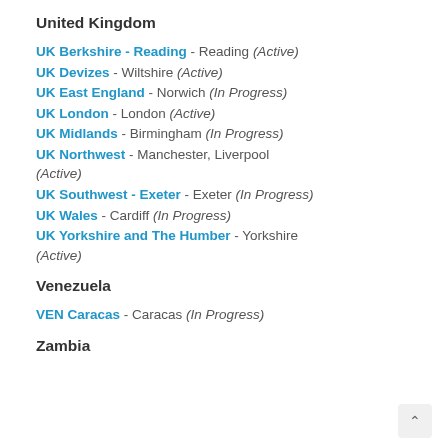United Kingdom
UK Berkshire - Reading - Reading (Active)
UK Devizes - Wiltshire (Active)
UK East England - Norwich (In Progress)
UK London - London (Active)
UK Midlands - Birmingham (In Progress)
UK Northwest - Manchester, Liverpool (Active)
UK Southwest - Exeter - Exeter (In Progress)
UK Wales - Cardiff (In Progress)
UK Yorkshire and The Humber - Yorkshire (Active)
Venezuela
VEN Caracas - Caracas (In Progress)
Zambia